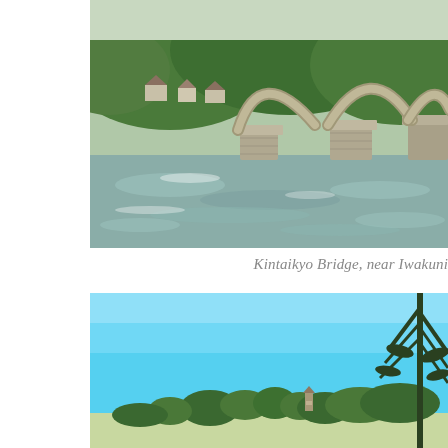[Figure (photo): Kintaikyo Bridge near Iwakuni — a traditional multi-arch stone bridge spanning a wide river with turbulent water; forested green hills in the background with Japanese houses visible.]
Kintaikyo Bridge, near Iwakuni
[Figure (photo): Bright blue sky scene near Iwakuni with pine tree branches in the foreground and a distant pagoda or castle structure visible among trees on the horizon.]